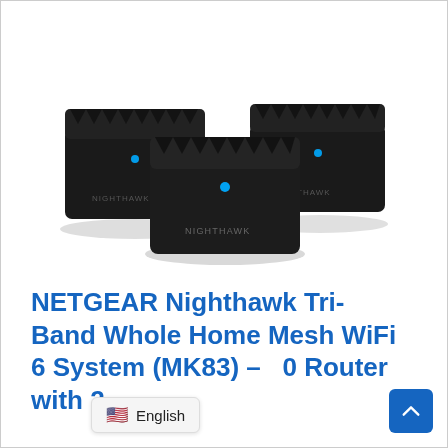[Figure (photo): Three black NETGEAR Nighthawk mesh WiFi router units arranged in a triangular formation. Each unit is a compact square black box with a textured zigzag pattern on top and a small blue LED indicator light on the front. The word NIGHTHAWK is printed on the front of each unit. Two units are placed in the back left and right, and one unit is centered in the front.]
NETGEAR Nighthawk Tri-Band Whole Home Mesh WiFi 6 System (MK83) – 0 Router with 2